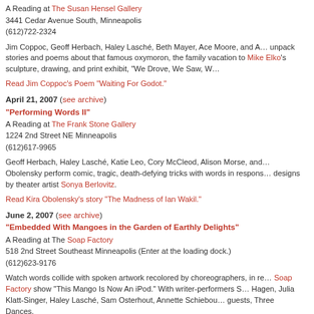A Reading at The Susan Hensel Gallery
3441 Cedar Avenue South, Minneapolis
(612)722-2324
Jim Coppoc, Geoff Herbach, Haley Lasché, Beth Mayer, Ace Moore, and A... unpack stories and poems about that famous oxymoron, the family vacation to Mike Elko's sculpture, drawing, and print exhibit, "We Drove, We Saw, W...
Read Jim Coppoc's Poem "Waiting For Godot."
April 21, 2007 (see archive)
"Performing Words II"
A Reading at The Frank Stone Gallery
1224 2nd Street NE Minneapolis
(612)617-9965
Geoff Herbach, Haley Lasché, Katie Leo, Cory McCleod, Alison Morse, and... Obolensky perform comic, tragic, death-defying tricks with words in respons... designs by theater artist Sonya Berlovitz.
Read Kira Obolensky's story "The Madness of Ian Wakil."
June 2, 2007 (see archive)
"Embedded With Mangoes in the Garden of Earthly Delights"
A Reading at The Soap Factory
518 2nd Street Southeast Minneapolis (Enter at the loading dock.)
(612)623-9176
Watch words collide with spoken artwork recolored by choreographers, in re... Soap Factory show "This Mango Is Now An iPod." With writer-performers S... Hagen, Julia Klatt-Singer, Haley Lasché, Sam Osterhout, Annette Schiebou... guests, Three Dances.
Read "What Happens Here Stays Here" by Julie Klatt-Singer